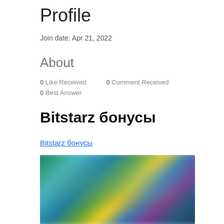Profile
Join date: Apr 21, 2022
About
0 Like Received   0 Comment Received
0 Best Answer
Bitstarz бонусы
Bitstarz бонусы
[Figure (photo): Blurred screenshot of a gaming or casino website with colorful characters and dark background, with a blue circular button with three dots in the lower right area]